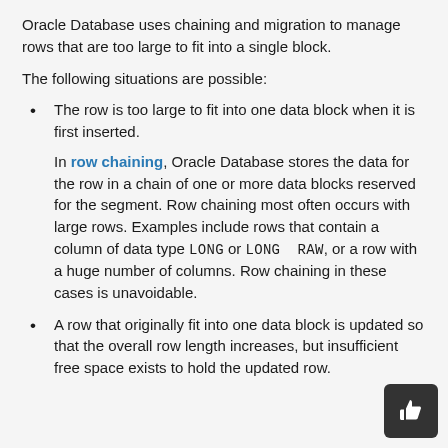Oracle Database uses chaining and migration to manage rows that are too large to fit into a single block.
The following situations are possible:
The row is too large to fit into one data block when it is first inserted.

In row chaining, Oracle Database stores the data for the row in a chain of one or more data blocks reserved for the segment. Row chaining most often occurs with large rows. Examples include rows that contain a column of data type LONG or LONG RAW, or a row with a huge number of columns. Row chaining in these cases is unavoidable.
A row that originally fit into one data block is updated so that the overall row length increases, but insufficient free space exists to hold the updated row.